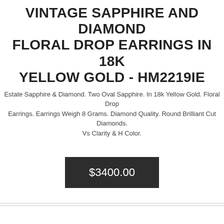VINTAGE SAPPHIRE AND DIAMOND FLORAL DROP EARRINGS IN 18K YELLOW GOLD - HM2219IE
Estate Sapphire & Diamond. Two Oval Sapphire. In 18k Yellow Gold. Floral Drop Earrings. Earrings Weigh 8 Grams. Diamond Quality. Round Brilliant Cut Diamonds. Vs Clarity & H Color.
$3400.00
[Figure (photo): Photo of a sapphire and diamond ring with an oval blue sapphire center stone surrounded by round brilliant cut diamonds in a floral halo setting on a white/silver band.]